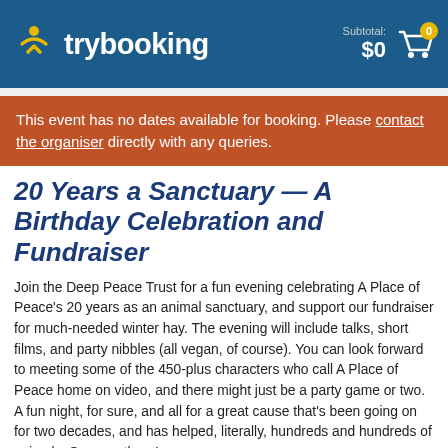trybooking — Subtotal: $0
This event has no dates available for booking. Please contact the organiser directly with any queries.
20 Years a Sanctuary — A Birthday Celebration and Fundraiser
Join the Deep Peace Trust for a fun evening celebrating A Place of Peace's 20 years as an animal sanctuary, and support our fundraiser for much-needed winter hay. The evening will include talks, short films, and party nibbles (all vegan, of course). You can look forward to meeting some of the 450-plus characters who call A Place of Peace home on video, and there might just be a party game or two. A fun night, for sure, and all for a great cause that's been going on for two decades, and has helped, literally, hundreds and hundreds of animals. See you there!